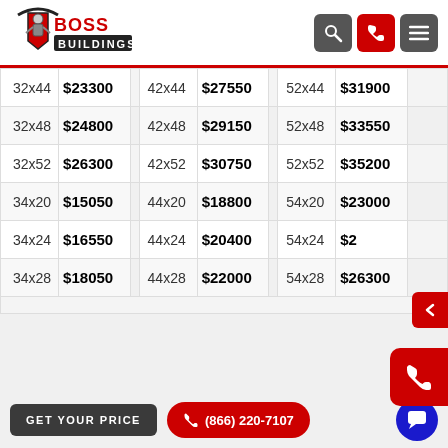[Figure (logo): Boss Buildings logo — armored warrior figure with red shield, red and black BOSS BUILDINGS text]
| 32x44 | $23300 | 42x44 | $27550 | 52x44 | $31900 |
| 32x48 | $24800 | 42x48 | $29150 | 52x48 | $33550 |
| 32x52 | $26300 | 42x52 | $30750 | 52x52 | $35200 |
| 34x20 | $15050 | 44x20 | $18800 | 54x20 | $23000 |
| 34x24 | $16550 | 44x24 | $20400 | 54x24 | $2? |
| 34x28 | $18050 | 44x28 | $22000 | 54x28 | $26300 |
GET YOUR PRICE
(866) 220-7107